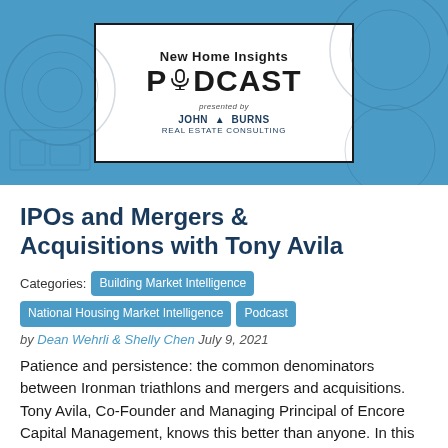[Figure (logo): New Home Insights PODCAST presented by John Burns Real Estate Consulting — logo in white box on blue background with map/architecture design elements]
IPOs and Mergers & Acquisitions with Tony Avila
Categories: Building Market Intelligence National Housing Market Intelligence Podcast
by Dean Wehrli & Shelly Chen July 9, 2021
Patience and persistence: the common denominators between Ironman triathlons and mergers and acquisitions. Tony Avila, Co-Founder and Managing Principal of Encore Capital Management, knows this better than anyone. In this week's New Home Insights podcast episode, we speak with Tony ...